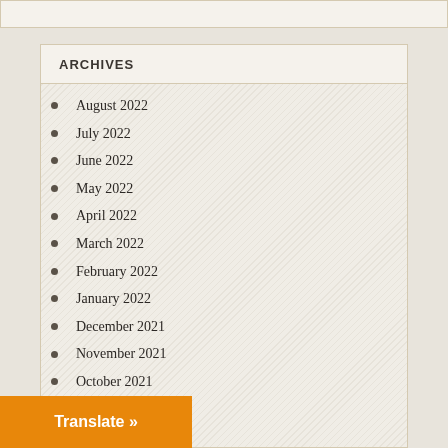ARCHIVES
August 2022
July 2022
June 2022
May 2022
April 2022
March 2022
February 2022
January 2022
December 2021
November 2021
October 2021
September 2021
August 2021
Translate »